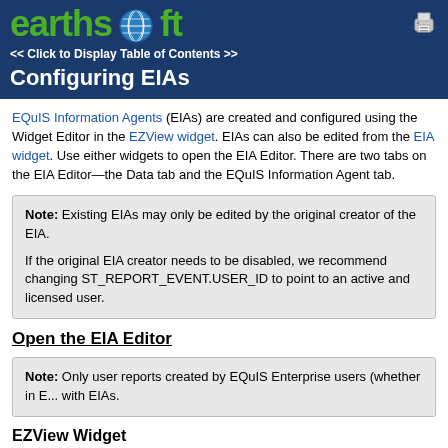earthsoft
Configuring EIAs
EQuIS Information Agents (EIAs) are created and configured using the Widget Editor in the EZView widget. EIAs can also be edited from the EIA widget. Use either widgets to open the EIA Editor. There are two tabs on the EIA Editor—the Data tab and the EQuIS Information Agent tab.
Note: Existing EIAs may only be edited by the original creator of the EIA.

If the original EIA creator needs to be disabled, we recommend changing ST_REPORT_EVENT.USER_ID to point to an active and licensed user.
Open the EIA Editor
Note: Only user reports created by EQuIS Enterprise users (whether in E... with EIAs.
EZView Widget